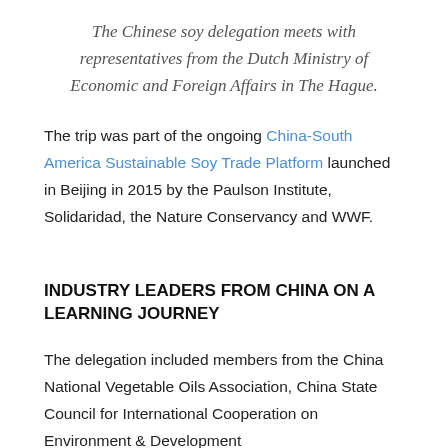The Chinese soy delegation meets with representatives from the Dutch Ministry of Economic and Foreign Affairs in The Hague.
The trip was part of the ongoing China-South America Sustainable Soy Trade Platform launched in Beijing in 2015 by the Paulson Institute, Solidaridad, the Nature Conservancy and WWF.
INDUSTRY LEADERS FROM CHINA ON A LEARNING JOURNEY
The delegation included members from the China National Vegetable Oils Association, China State Council for International Cooperation on Environment & Development